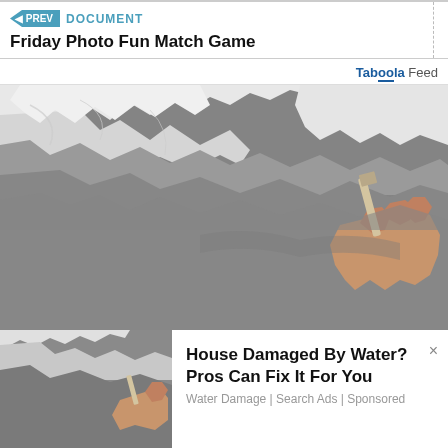PREV  DOCUMENT
Friday Photo Fun Match Game
Taboola Feed
[Figure (photo): A hand using a scraper/putty knife to remove peeling paint from a ceiling. The ceiling shows large areas of damaged, bubbling and peeling grey/white paint.]
[Figure (photo): Thumbnail of same ceiling water damage image showing peeling paint and a hand with scraper tool.]
House Damaged By Water? Pros Can Fix It For You
Water Damage | Search Ads | Sponsored